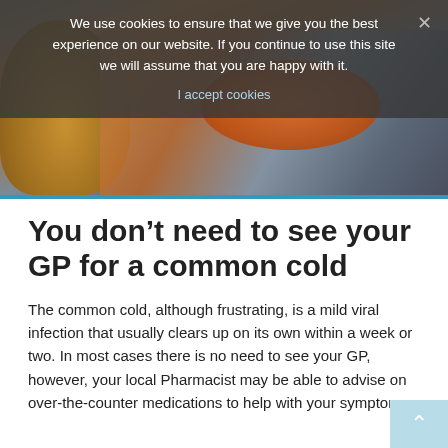[Figure (photo): A person wrapped in a plaid blanket and orange scarf, holding a thermometer, with a teddy bear visible on the left. A cookie consent banner overlays the top of the image.]
You don’t need to see your GP for a common cold
The common cold, although frustrating, is a mild viral infection that usually clears up on its own within a week or two. In most cases there is no need to see your GP, however, your local Pharmacist may be able to advise on over-the-counter medications to help with your symptoms.